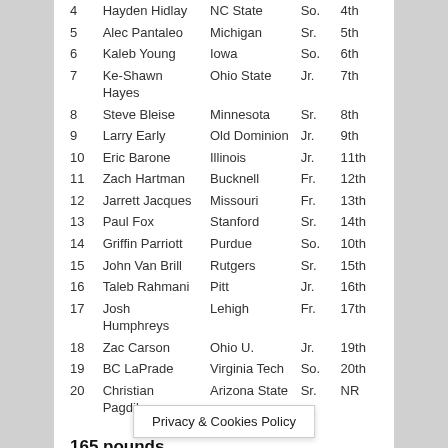| Rk. | Name | School | Year | Previous |
| --- | --- | --- | --- | --- |
| 4 | Hayden Hidlay | NC State | So. | 4th |
| 5 | Alec Pantaleo | Michigan | Sr. | 5th |
| 6 | Kaleb Young | Iowa | So. | 6th |
| 7 | Ke-Shawn Hayes | Ohio State | Jr. | 7th |
| 8 | Steve Bleise | Minnesota | Sr. | 8th |
| 9 | Larry Early | Old Dominion | Jr. | 9th |
| 10 | Eric Barone | Illinois | Jr. | 11th |
| 11 | Zach Hartman | Bucknell | Fr. | 12th |
| 12 | Jarrett Jacques | Missouri | Fr. | 13th |
| 13 | Paul Fox | Stanford | Sr. | 14th |
| 14 | Griffin Parriott | Purdue | So. | 10th |
| 15 | John Van Brill | Rutgers | Sr. | 15th |
| 16 | Taleb Rahmani | Pitt | Jr. | 16th |
| 17 | Josh Humphreys | Lehigh | Fr. | 17th |
| 18 | Zac Carson | Ohio U. | Jr. | 19th |
| 19 | BC LaPrade | Virginia Tech | So. | 20th |
| 20 | Christian Pagdilao | Arizona State | Sr. | NR |
165 pounds
| Rk. | Name | School | Year | Previous |
| --- | --- | --- | --- | --- |
| 1 | Vincenzo Joseph | Penn State | Jr. | 1st |
| 2 | Alex Marinelli |  |  |  |